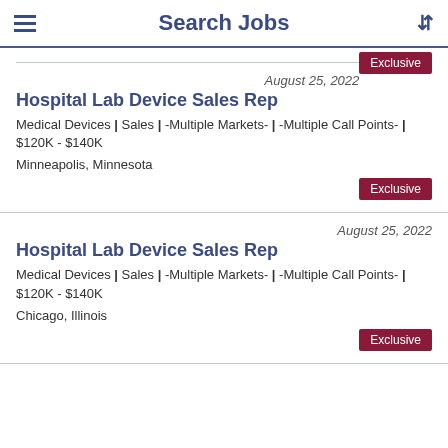Search Jobs
Exclusive
August 25, 2022
Hospital Lab Device Sales Rep
Medical Devices | Sales | -Multiple Markets- | -Multiple Call Points- | $120K - $140K
Minneapolis, Minnesota
Exclusive
August 25, 2022
Hospital Lab Device Sales Rep
Medical Devices | Sales | -Multiple Markets- | -Multiple Call Points- | $120K - $140K
Chicago, Illinois
Exclusive